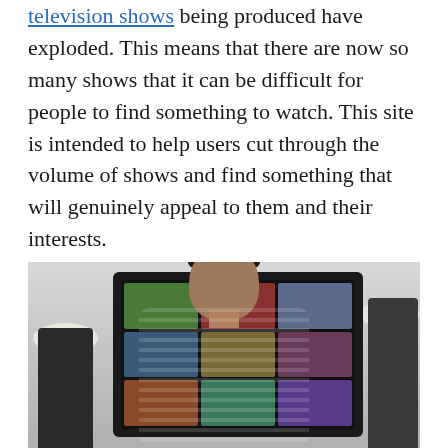television shows being produced have exploded. This means that there are now so many shows that it can be difficult for people to find something to watch. This site is intended to help users cut through the volume of shows and find something that will genuinely appeal to them and their interests.
[Figure (photo): A person seen from behind, sitting and watching a large TV screen displaying a grid of streaming content thumbnails. The room has lamps on either side.]